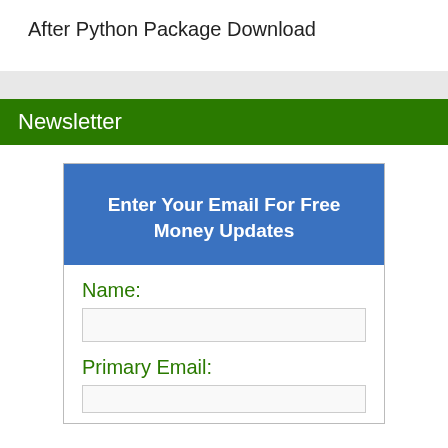After Python Package Download
Newsletter
Enter Your Email For Free Money Updates
Name:
Primary Email: